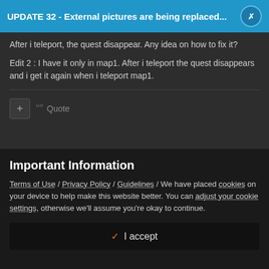UPDATE 32 - External pictures are being replaced...
After i teleport, the quest disappear. Any idea on how to fix it?
Edit 2 : I have it only in map1. After i teleport the quest disappears and i get it again when i teleport map1.
+ “” Quote
▲ 0 ▼
Important Information
Terms of Use / Privacy Policy / Guidelines / We have placed cookies on your device to help make this website better. You can adjust your cookie settings, otherwise we'll assume you're okay to continue.
✓ I accept